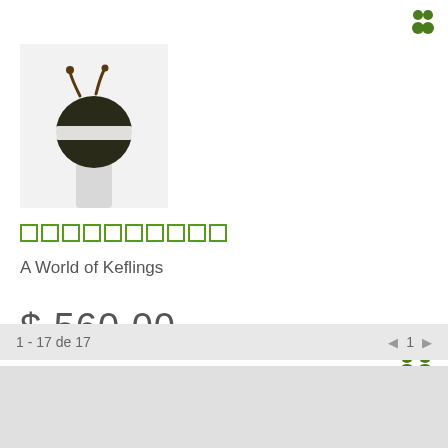[Figure (illustration): Two green person/user icons in top right corner]
[Figure (photo): Product photo: dark olive/black acorn-shaped object with white band across middle and two antennae, displayed on white mannequin neck bust]
□□□□□□□□□□
A World of Keflings
$ 560,00
[Figure (illustration): Two green person/user icons]
1 - 17 de 17
◄ 1 ►